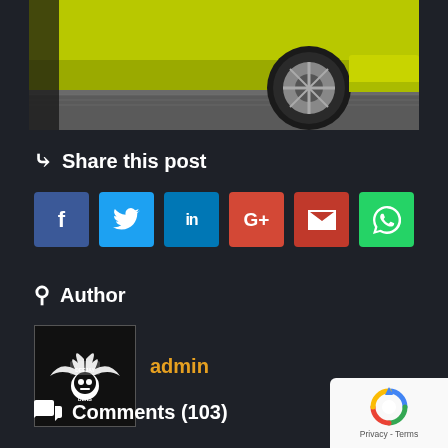[Figure (photo): Bottom portion of a yellow car on a dyno/workshop floor, showing rear wheel and lower bodywork]
Share this post
[Figure (infographic): Social share buttons: Facebook (blue), Twitter (light blue), LinkedIn (blue), Google+ (red), Email (dark red), WhatsApp (green)]
Author
[Figure (logo): DeeJay Dens logo - eagle/wings with DJ skull motif on black background]
admin
Comments (103)
[Figure (other): Google reCAPTCHA badge showing reCAPTCHA logo with Privacy - Terms text]